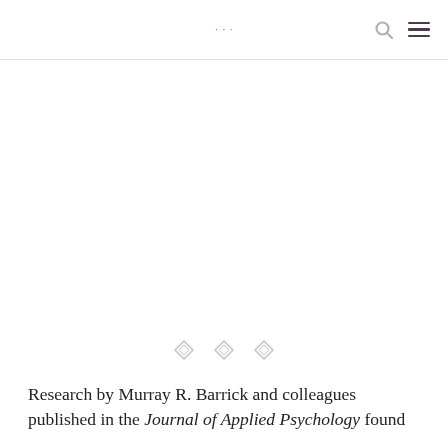[navigation partial] [search icon] [menu icon]
[Figure (other): Decorative diamond/cross ornament row with three small diamond shapes as a section separator]
Research by Murray R. Barrick and colleagues published in the Journal of Applied Psychology found